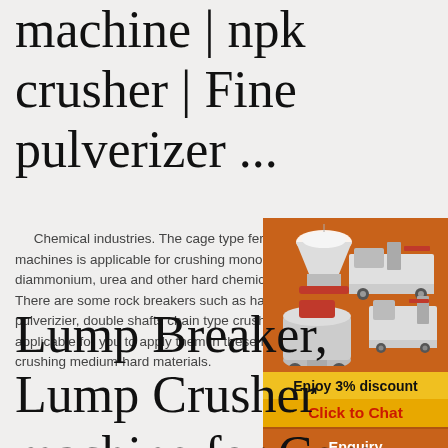machine | npk crusher | Fine pulverizer ...
Chemical industries. The cage type fertilizer machines is applicable for crushing monoammonium, diammonium, urea and other hard chemical materials. There are some rock breakers such as hammer pulverizier, double shafts chain type crushers. It is applicable for you to apply them in these fields of crushing medium-hard materials.
[Figure (illustration): Orange advertisement panel showing three industrial crushing/milling machines, a yellow 'Enjoy 3% discount' banner, a red 'Click to Chat' button, an 'Enquiry' section, and email address limingjlmofen@sina.com]
Lump Breaker, Lump Crusher machine for Cem fertilizer ...